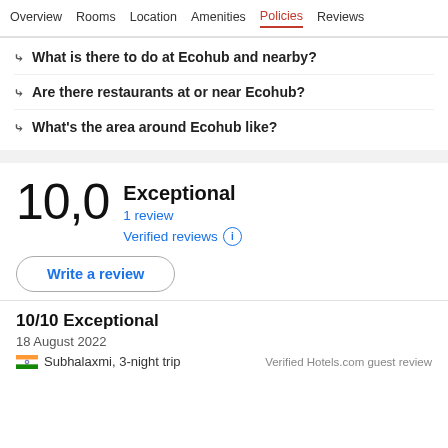Overview  Rooms  Location  Amenities  Policies  Reviews
What is there to do at Ecohub and nearby?
Are there restaurants at or near Ecohub?
What's the area around Ecohub like?
10,0  Exceptional  1 review  Verified reviews
Write a review
10/10 Exceptional
18 August 2022
Subhalaxmi, 3-night trip
Verified Hotels.com guest review